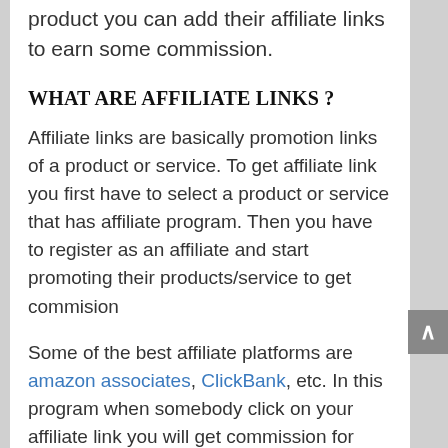product you can add their affiliate links to earn some commission.
WHAT ARE AFFILIATE LINKS ?
Affiliate links are basically promotion links of a product or service. To get affiliate link you first have to select a product or service that has affiliate program. Then you have to register as an affiliate and start promoting their products/service to get commision
Some of the best affiliate platforms are amazon associates, ClickBank, etc. In this program when somebody click on your affiliate link you will get commission for every product they buy in next 24 hours.
CONCLSION